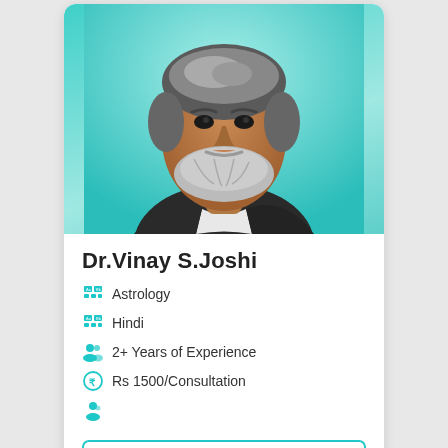[Figure (photo): Profile photo of Dr. Vinay S. Joshi, a middle-aged man with grey beard wearing a dark jacket, on a teal/turquoise background]
Dr.Vinay S.Joshi
Astrology
Hindi
2+ Years of Experience
Rs 1500/Consultation